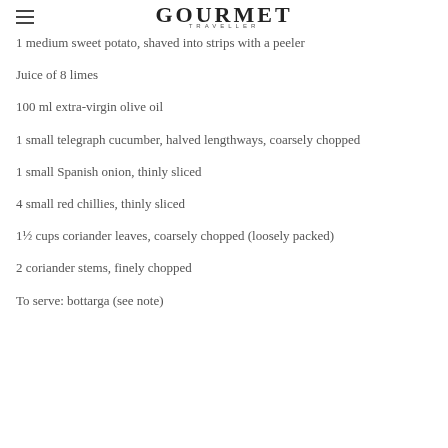GOURMET TRAVELLER
1 medium sweet potato, shaved into strips with a peeler
Juice of 8 limes
100 ml extra-virgin olive oil
1 small telegraph cucumber, halved lengthways, coarsely chopped
1 small Spanish onion, thinly sliced
4 small red chillies, thinly sliced
1½ cups coriander leaves, coarsely chopped (loosely packed)
2 coriander stems, finely chopped
To serve: bottarga (see note)